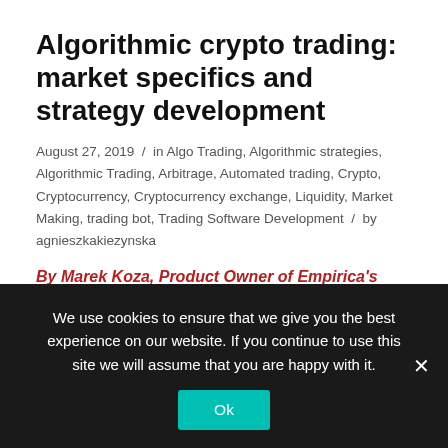Algorithmic crypto trading: market specifics and strategy development
August 27, 2019  /  in Algo Trading, Algorithmic strategies, Algorithmic Trading, Arbitrage, Automated trading, Crypto, Cryptocurrency, Cryptocurrency exchange, Liquidity, Market Making, trading bot, Trading Software Development  /  by agnieszkakiezynska
By Marek Koza, Product Owner of Empirica's Algo Trading Platform
Among trading professionals, interest in crypto-currency trading is steadily growing. At Empirica we see it by an increasing number of requests from trading companies
We use cookies to ensure that we give you the best experience on our website. If you continue to use this site we will assume that you are happy with it.